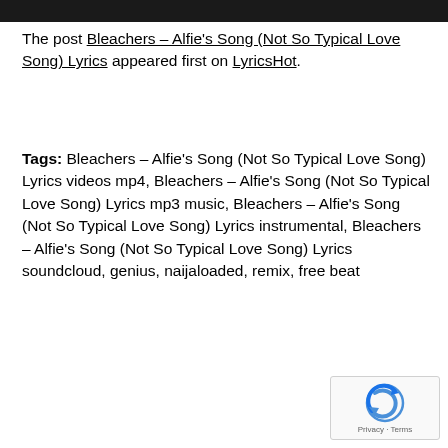[Figure (other): Dark header bar at top of page]
The post Bleachers – Alfie's Song (Not So Typical Love Song) Lyrics appeared first on LyricsHot.
Tags: Bleachers – Alfie's Song (Not So Typical Love Song) Lyrics videos mp4, Bleachers – Alfie's Song (Not So Typical Love Song) Lyrics mp3 music, Bleachers – Alfie's Song (Not So Typical Love Song) Lyrics instrumental, Bleachers – Alfie's Song (Not So Typical Love Song) Lyrics soundcloud, genius, naijaloaded, remix, free beat
[Figure (logo): reCAPTCHA badge with Privacy and Terms text]